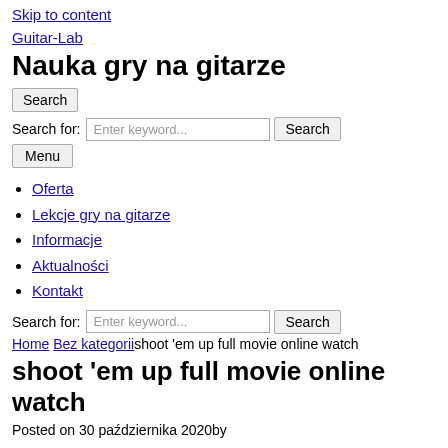Skip to content
Guitar-Lab
Nauka gry na gitarze
Search
Search for: [Enter keyword...] Search
Menu
Oferta
Lekcje gry na gitarze
Informacje
Aktualności
Kontakt
Search for: [Enter keyword...] Search
Home Bez kategorii shoot 'em up full movie online watch
shoot 'em up full movie online watch
Posted on 30 października 2020by